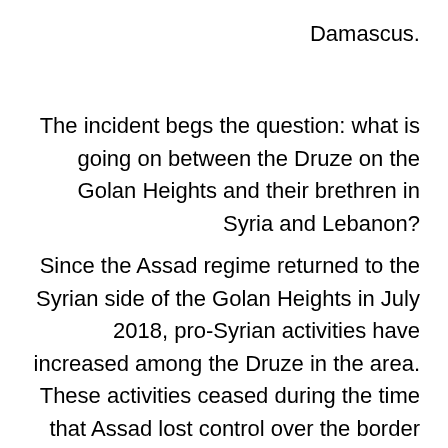Damascus.
The incident begs the question: what is going on between the Druze on the Golan Heights and their brethren in Syria and Lebanon?
Since the Assad regime returned to the Syrian side of the Golan Heights in July 2018, pro-Syrian activities have increased among the Druze in the area. These activities ceased during the time that Assad lost control over the border area in the Syrian civil war (2012-2018). The pendulum even swung in the opposite direction, with activities showing solidarity with the rebels and a distancing from Assad.